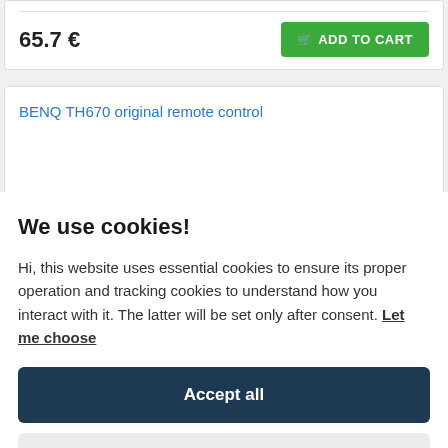65.7 €
ADD TO CART
BENQ TH670 original remote control
We use cookies!
Hi, this website uses essential cookies to ensure its proper operation and tracking cookies to understand how you interact with it. The latter will be set only after consent. Let me choose
Accept all
Reject all
Benq original remote control DLP projektor TH670, RC01, 5J.J5M00.001, bq01,